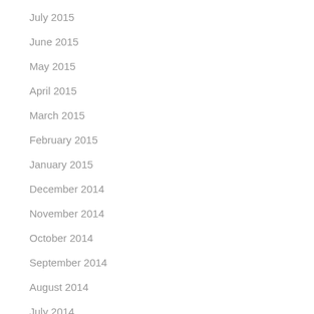August 2015
July 2015
June 2015
May 2015
April 2015
March 2015
February 2015
January 2015
December 2014
November 2014
October 2014
September 2014
August 2014
July 2014
June 2014